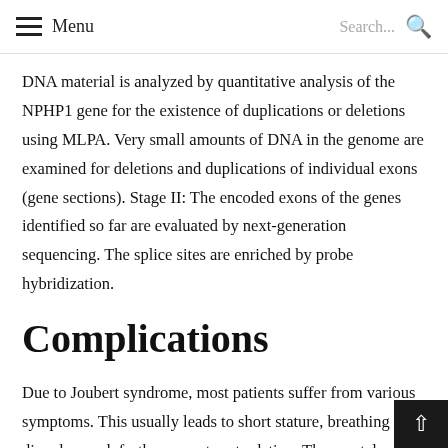Menu  Search...
DNA material is analyzed by quantitative analysis of the NPHP1 gene for the existence of duplications or deletions using MLPA. Very small amounts of DNA in the genome are examined for deletions and duplications of individual exons (gene sections). Stage II: The encoded exons of the genes identified so far are evaluated by next-generation sequencing. The splice sites are enriched by probe hybridization.
Complications
Due to Joubert syndrome, most patients suffer from various symptoms. This usually leads to short stature, breathing disorders and, furthermore, to retardation. The mental